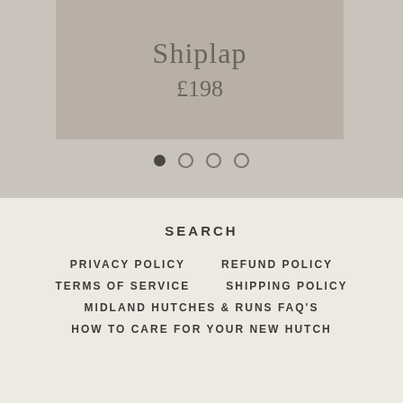[Figure (screenshot): Product card showing 'Shiplap' item name and price £198 on a tan/beige background]
[Figure (other): Carousel pagination dots: one filled dark dot followed by three empty circle dots]
SEARCH
PRIVACY POLICY
REFUND POLICY
TERMS OF SERVICE
SHIPPING POLICY
MIDLAND HUTCHES & RUNS FAQ'S
HOW TO CARE FOR YOUR NEW HUTCH